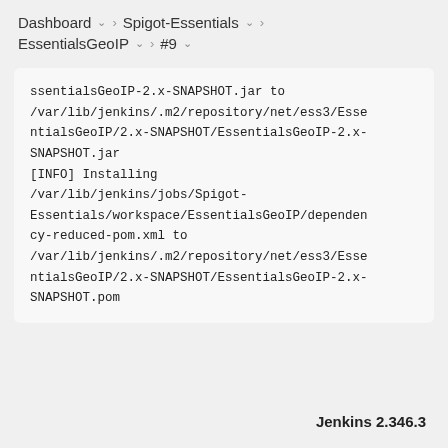Dashboard > Spigot-Essentials > EssentialsGeoIP > #9
ssentialsGeoIP-2.x-SNAPSHOT.jar to /var/lib/jenkins/.m2/repository/net/ess3/EssentialsGeoIP/2.x-SNAPSHOT/EssentialsGeoIP-2.x-SNAPSHOT.jar
[INFO] Installing /var/lib/jenkins/jobs/Spigot-Essentials/workspace/EssentialsGeoIP/dependency-reduced-pom.xml to /var/lib/jenkins/.m2/repository/net/ess3/EssentialsGeoIP/2.x-SNAPSHOT/EssentialsGeoIP-2.x-SNAPSHOT.pom
Jenkins 2.346.3